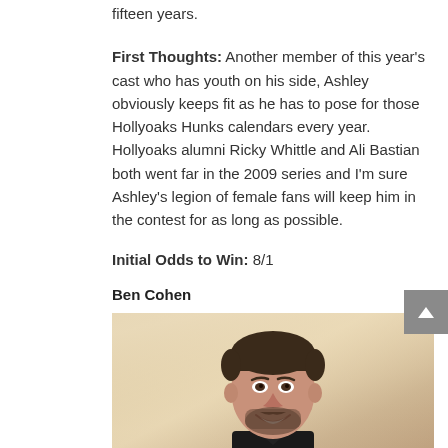fifteen years.
First Thoughts: Another member of this year's cast who has youth on his side, Ashley obviously keeps fit as he has to pose for those Hollyoaks Hunks calendars every year. Hollyoaks alumni Ricky Whittle and Ali Bastian both went far in the 2009 series and I'm sure Ashley's legion of female fans will keep him in the contest for as long as possible.
Initial Odds to Win: 8/1
Ben Cohen
[Figure (photo): Photo of Ben Cohen, a man with short dark hair and a beard, smiling broadly, wearing a dark shirt/jacket, against a light beige/gold background.]